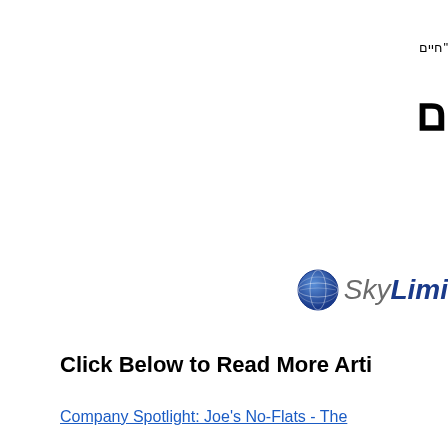"חיים
ם
[Figure (logo): SkyLimit logo with globe icon and italic text 'SkyLimi' partially visible, in blue and grey colors]
Click Below to Read More Arti
Company Spotlight: Joe's No-Flats - The